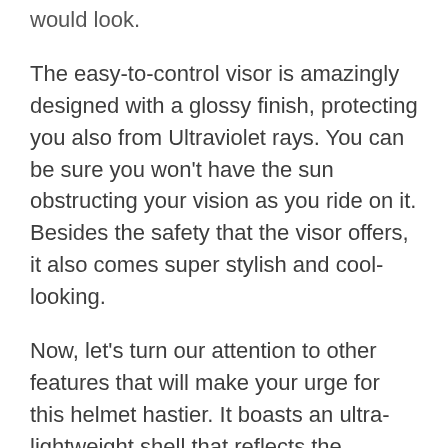would look.
The easy-to-control visor is amazingly designed with a glossy finish, protecting you also from Ultraviolet rays. You can be sure you won't have the sun obstructing your vision as you ride on it. Besides the safety that the visor offers, it also comes super stylish and cool-looking.
Now, let's turn our attention to other features that will make your urge for this helmet hastier. It boasts an ultra-lightweight shell that reflects the properties a typical top-quality motorcycle helmet should possess.